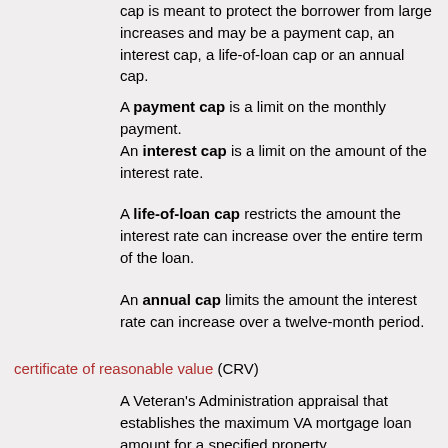cap is meant to protect the borrower from large increases and may be a payment cap, an interest cap, a life-of-loan cap or an annual cap.
A payment cap is a limit on the monthly payment.
An interest cap is a limit on the amount of the interest rate.
A life-of-loan cap restricts the amount the interest rate can increase over the entire term of the loan.
An annual cap limits the amount the interest rate can increase over a twelve-month period.
certificate of reasonable value (CRV)
A Veteran's Administration appraisal that establishes the maximum VA mortgage loan amount for a specified property.
certificate of title
Document rendering an opinion on the status of a property's title based on public records.
closed-end mortgage